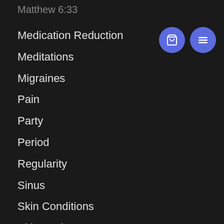Matthew 6:33
Medication Reduction
Meditations
Migraines
Pain
Party
Period
Regularity
Sinus
Skin Conditions
Skin Marks
Sleep
Strength